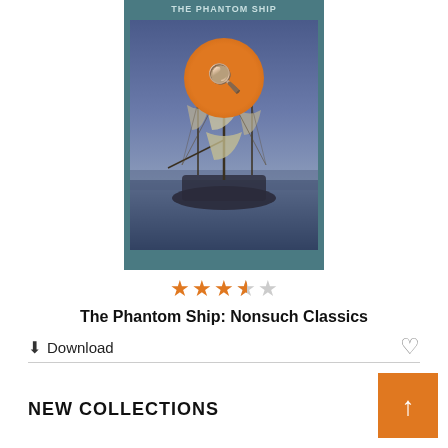[Figure (illustration): Book cover of 'The Phantom Ship: Nonsuch Classics' showing a sailing ship on dark water with an orange magnifier circle overlay, on a teal background.]
★★★½☆ (3.5 star rating)
The Phantom Ship: Nonsuch Classics
⬇ Download
♡ (heart/favorite icon)
NEW COLLECTIONS